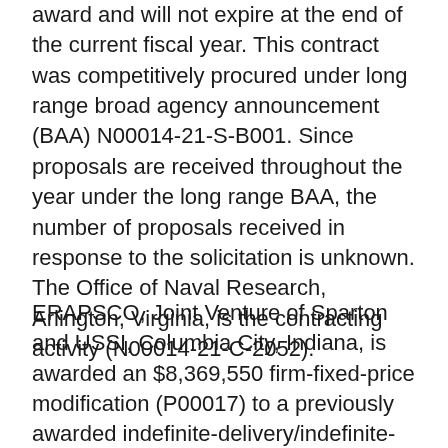award and will not expire at the end of the current fiscal year. This contract was competitively procured under long range broad agency announcement (BAA) N00014-21-S-B001. Since proposals are received throughout the year under the long range BAA, the number of proposals received in response to the solicitation is unknown. The Office of Naval Research, Arlington, Virginia, is the contracting activity (N00014-21-C-2052).
ERAPSCO, Joint Venture of Sparton and USSI, Columbia City, Indiana, is awarded an $8,369,550 firm-fixed-price modification (P00017) to a previously awarded indefinite-delivery/indefinite-quantity contract